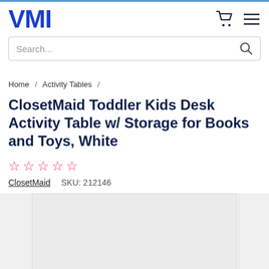VMI
Search...
Home / Activity Tables /
ClosetMaid Toddler Kids Desk Activity Table w/ Storage for Books and Toys, White
★★★★★ (0 stars)
ClosetMaid   SKU: 212146
[Figure (photo): Product image gallery placeholder showing main image area with left and right thumbnail panels, all shown as light gray placeholder boxes.]